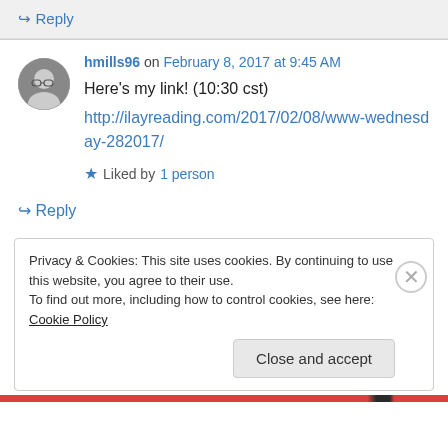↪ Reply
hmills96 on February 8, 2017 at 9:45 AM
Here's my link! (10:30 cst)
http://ilayreading.com/2017/02/08/www-wednesday-282017/
★ Liked by 1 person
↪ Reply
Privacy & Cookies: This site uses cookies. By continuing to use this website, you agree to their use.
To find out more, including how to control cookies, see here: Cookie Policy
Close and accept